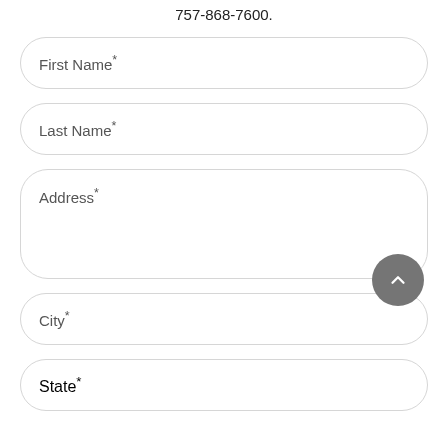757-868-7600.
First Name*
Last Name*
Address*
City*
State*